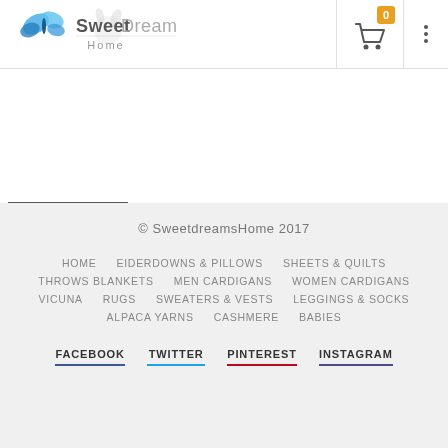[Figure (logo): Sweet Dreams Home logo with blue butterflies and decorative floral motif]
© SweetdreamsHome 2017
HOME   EIDERDOWNS & PILLOWS   SHEETS & QUILTS
THROWS BLANKETS   MEN CARDIGANS   WOMEN CARDIGANS
VICUNA   RUGS   SWEATERS & VESTS   LEGGINGS & SOCKS
ALPACA YARNS   CASHMERE   BABIES
FACEBOOK   TWITTER   PINTEREST   INSTAGRAM